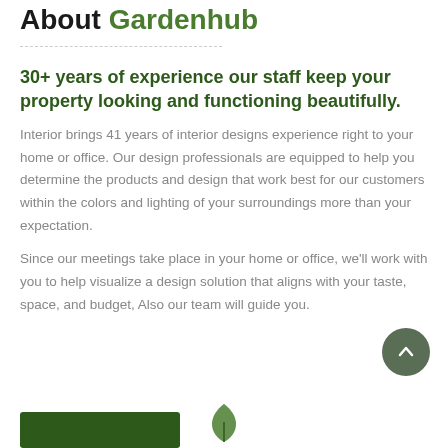About Gardenhub
30+ years of experience our staff keep your property looking and functioning beautifully.
Interior brings 41 years of interior designs experience right to your home or office. Our design professionals are equipped to help you determine the products and design that work best for our customers within the colors and lighting of your surroundings more than your expectation.
Since our meetings take place in your home or office, we'll work with you to help visualize a design solution that aligns with your taste, space, and budget, Also our team will guide you.